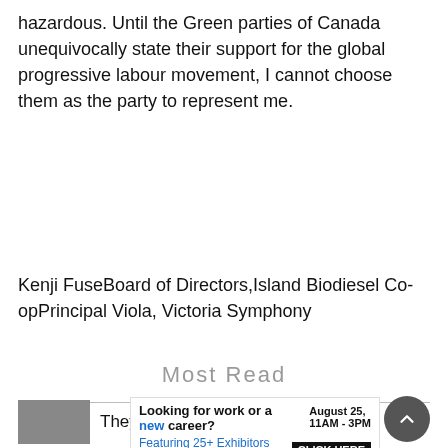hazardous. Until the Green parties of Canada unequivocally state their support for the global progressive labour movement, I cannot choose them as the party to represent me.
Kenji FuseBoard of Directors,Island Biodiesel Co-opPrincipal Viola, Victoria Symphony
Most Read
They're back!
[Figure (photo): Small grey thumbnail image of a news article]
Looking for work or a new career? August 25, 11AM - 3PM Featuring 25+ Exhibitors and Growing! CLICK HERE